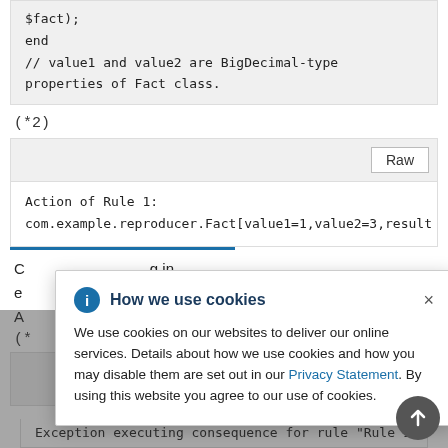$fact);
end
// value1 and value2 are BigDecimal-type
properties of Fact class.
(*2)
[Figure (screenshot): Code output block showing 'Raw' button, with text: Action of Rule 1: com.example.reproducer.Fact[value1=1,value2=3,result...]
...g in
e...
A...
(*...
[Figure (screenshot): Cookie consent dialog: 'How we use cookies' with info icon, close button (x), body text about cookies and Privacy Statement link, overlaid on page content. Also shows Raw button and scroll-to-top button.]
Exception executing consequence for rule "Rule 1"